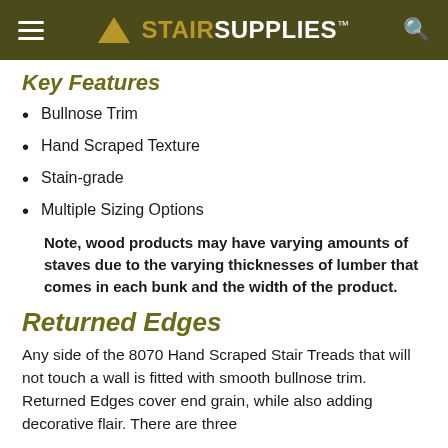StairSupplies
Key Features
Bullnose Trim
Hand Scraped Texture
Stain-grade
Multiple Sizing Options
Note, wood products may have varying amounts of staves due to the varying thicknesses of lumber that comes in each bunk and the width of the product.
Returned Edges
Any side of the 8070 Hand Scraped Stair Treads that will not touch a wall is fitted with smooth bullnose trim. Returned Edges cover end grain, while also adding decorative flair. There are three